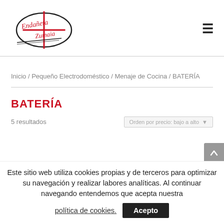[Figure (logo): Endañeta Zumaia script logo with circular oval graphic in black and red]
≡
Inicio / Pequeño Electrodoméstico / Menaje de Cocina / BATERÍA
BATERÍA
5 resultados
Orden por precio: bajo a alto
Este sitio web utiliza cookies propias y de terceros para optimizar su navegación y realizar labores analíticas. Al continuar navegando entendemos que acepta nuestra política de cookies.
Acepto